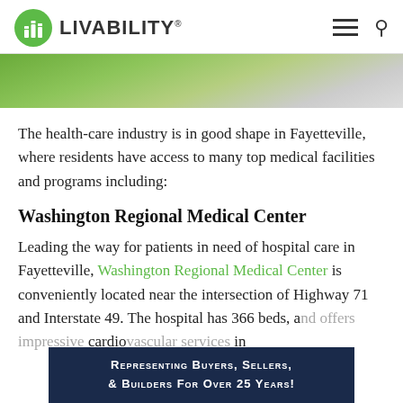LIVABILITY
[Figure (photo): Aerial or landscape photo showing a winding road through green grass/park area]
The health-care industry is in good shape in Fayetteville, where residents have access to many top medical facilities and programs including:
Washington Regional Medical Center
Leading the way for patients in need of hospital care in Fayetteville, Washington Regional Medical Center is conveniently located near the intersection of Highway 71 and Interstate 49. The hospital has 366 beds, a... cardio... in
REPRESENTING BUYERS, SELLERS, & BUILDERS FOR OVER 25 YEARS!